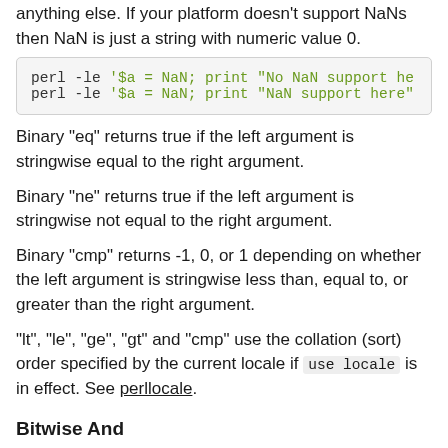anything else. If your platform doesn't support NaNs then NaN is just a string with numeric value 0.
[Figure (screenshot): Code block showing two perl -le commands with string NaN assignment and print statements]
Binary "eq" returns true if the left argument is stringwise equal to the right argument.
Binary "ne" returns true if the left argument is stringwise not equal to the right argument.
Binary "cmp" returns -1, 0, or 1 depending on whether the left argument is stringwise less than, equal to, or greater than the right argument.
"lt", "le", "ge", "gt" and "cmp" use the collation (sort) order specified by the current locale if use locale is in effect. See perllocale.
Bitwise And